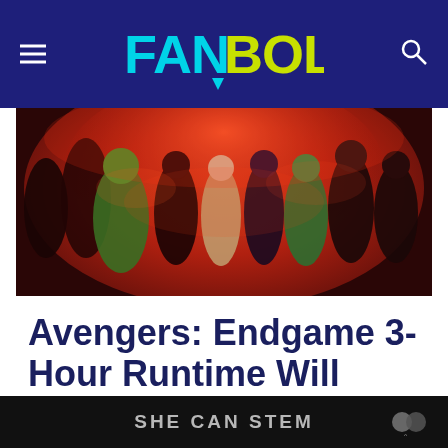FanBolt
[Figure (photo): Avengers: Endgame movie promotional banner with multiple Marvel superhero characters against a red cosmic background]
Avengers: Endgame 3-Hour Runtime Will Likely Stick
SHE CAN STEM